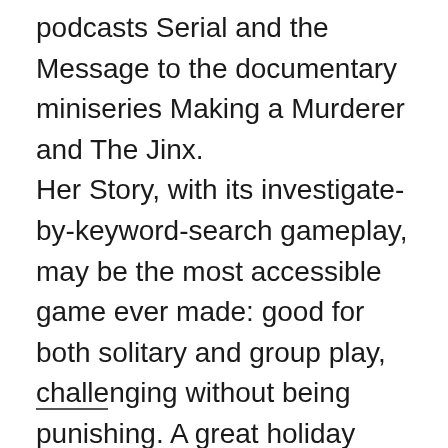podcasts Serial and the Message to the documentary miniseries Making a Murderer and The Jinx. Her Story, with its investigate-by-keyword-search gameplay, may be the most accessible game ever made: good for both solitary and group play, challenging without being punishing. A great holiday present for your non-gaming relatives.
——